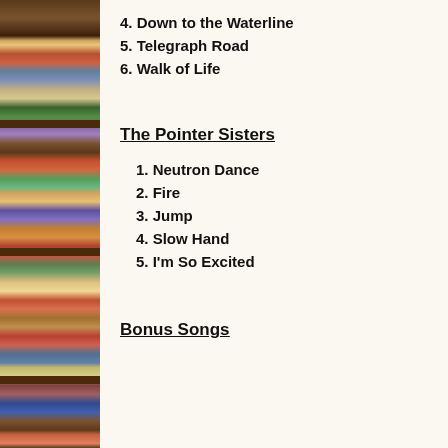4. Down to the Waterline
5. Telegraph Road
6. Walk of Life
The Pointer Sisters
1. Neutron Dance
2. Fire
3. Jump
4. Slow Hand
5. I'm So Excited
Bonus Songs